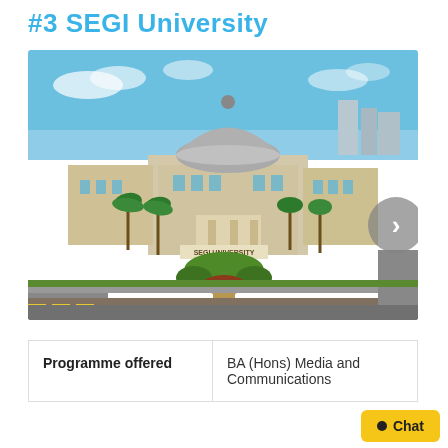#3 SEGI University
[Figure (photo): Aerial/ground-level view of SEGI University campus with large domed building, palm trees, manicured gardens, and entrance signage reading 'SEGI UNIVERSITY']
| Programme offered | BA (Hons) Media and Communications |